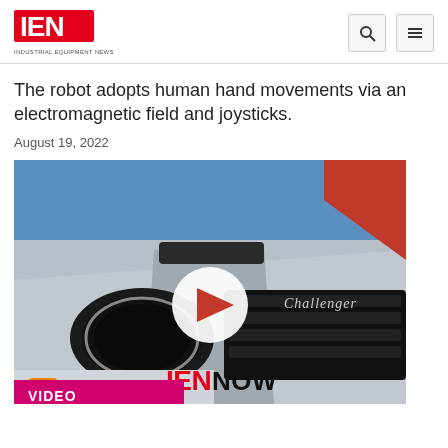IEN - INDUSTRIAL EQUIPMENT NEWS
The robot adopts human hand movements via an electromagnetic field and joysticks.
August 19, 2022
[Figure (screenshot): Video thumbnail showing a close-up of a silver Dodge Challenger car hood and headlight with a play button overlay and IEN NOW branding. A pink VIDEO label bar appears at the bottom left.]